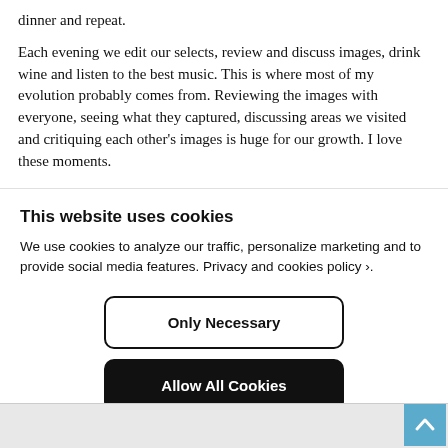dinner and repeat.
Each evening we edit our selects, review and discuss images, drink wine and listen to the best music. This is where most of my evolution probably comes from. Reviewing the images with everyone, seeing what they captured, discussing areas we visited and critiquing each other's images is huge for our growth. I love these moments.
This website uses cookies
We use cookies to analyze our traffic, personalize marketing and to provide social media features. Privacy and cookies policy ›.
Only Necessary
Allow All Cookies
Configure Settings ›